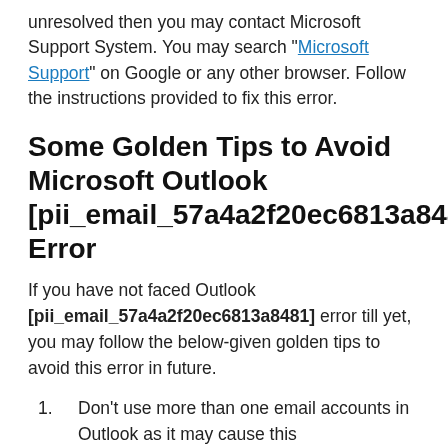unresolved then you may contact Microsoft Support System. You may search "Microsoft Support" on Google or any other browser. Follow the instructions provided to fix this error.
Some Golden Tips to Avoid Microsoft Outlook [pii_email_57a4a2f20ec6813a8481] Error
If you have not faced Outlook [pii_email_57a4a2f20ec6813a8481] error till yet, you may follow the below-given golden tips to avoid this error in future.
Don't use more than one email accounts in Outlook as it may cause this [pii_email_57a4a2f20ec6813a8481] error.